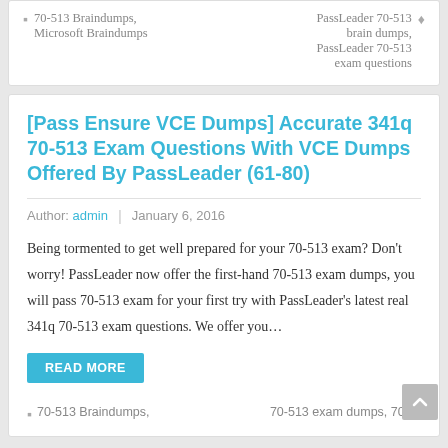70-513 Braindumps, Microsoft Braindumps
PassLeader 70-513 brain dumps, PassLeader 70-513 exam questions
[Pass Ensure VCE Dumps] Accurate 341q 70-513 Exam Questions With VCE Dumps Offered By PassLeader (61-80)
Author: admin | January 6, 2016
Being tormented to get well prepared for your 70-513 exam? Don't worry! PassLeader now offer the first-hand 70-513 exam dumps, you will pass 70-513 exam for your first try with PassLeader's latest real 341q 70-513 exam questions. We offer you…
READ MORE
70-513 Braindumps,
70-513 exam dumps, 70-